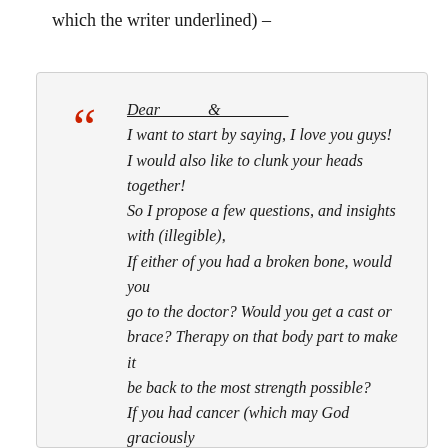which the writer underlined) –
Dear _____ & ________
I want to start by saying, I love you guys!
I would also like to clunk your heads together!
So I propose a few questions, and insights with (illegible),
If either of you had a broken bone, would you go to the doctor? Would you get a cast or brace? Therapy on that body part to make it be back to the most strength possible?
If you had cancer (which may God graciously forbid) would you have surgery to remove it? Radiology? Chemo?
If you had a heart attack, would you have...